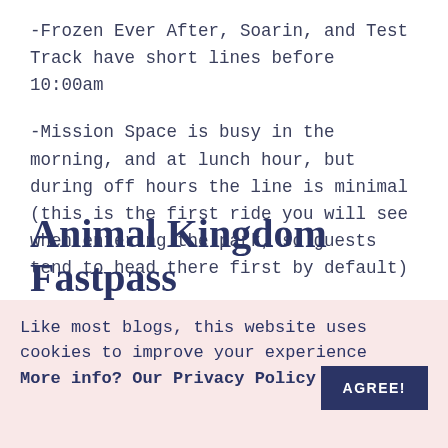-Frozen Ever After, Soarin, and Test Track have short lines before 10:00am
-Mission Space is busy in the morning, and at lunch hour, but during off hours the line is minimal (this is the first ride you will see when entering the park, so guests tend to head there first by default)
-Mission to Mars genuinely has a short line all day because this ride makes many people sick
Animal Kingdom Fastpass
Like most blogs, this website uses cookies to improve your experience
More info? Our Privacy Policy